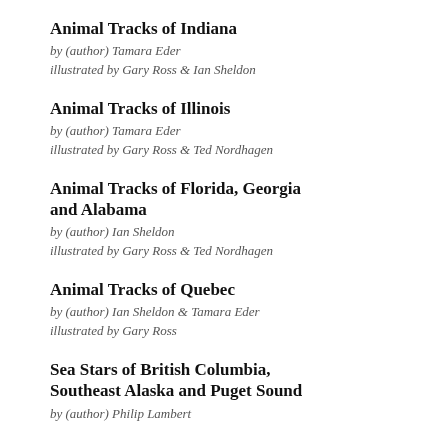Animal Tracks of Indiana
by (author) Tamara Eder
illustrated by Gary Ross & Ian Sheldon
Animal Tracks of Illinois
by (author) Tamara Eder
illustrated by Gary Ross & Ted Nordhagen
Animal Tracks of Florida, Georgia and Alabama
by (author) Ian Sheldon
illustrated by Gary Ross & Ted Nordhagen
Animal Tracks of Quebec
by (author) Ian Sheldon & Tamara Eder
illustrated by Gary Ross
Sea Stars of British Columbia, Southeast Alaska and Puget Sound
by (author) Philip Lambert